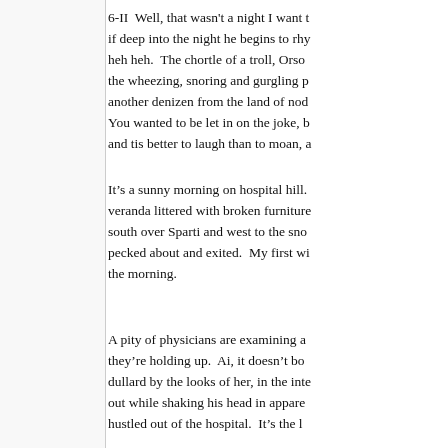6-II  Well, that wasn't a night I want to if deep into the night he begins to rhyt heh heh.  The chortle of a troll, Orson the wheezing, snoring and gurgling pu another denizen from the land of nod  You wanted to be let in on the joke, b and tis better to laugh than to moan, a
It's a sunny morning on hospital hill. veranda littered with broken furniture south over Sparti and west to the snow pecked about and exited.  My first wif the morning.
A pity of physicians are examining an they're holding up.  Ai, it doesn't bod dullard by the looks of her, in the inter out while shaking his head in apparen hustled out of the hospital.  It's the le